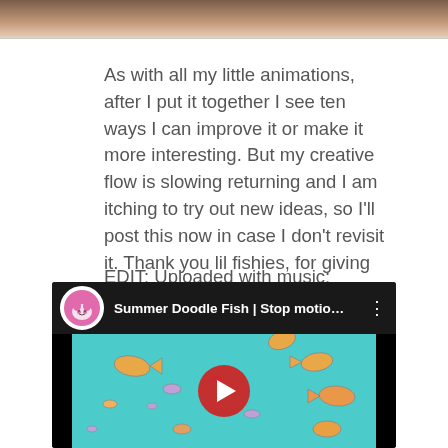[Figure (photo): Top partial image, brownish/beige tones, cropped]
As with all my little animations, after I put it together I see ten ways I can improve it or make it more interesting. But my creative flow is slowing returning and I am itching to try out new ideas, so I'll post this now in case I don't revisit it. Thank you lil fishies, for giving me back my flow!
EDIT: Uploaded with music:
[Figure (screenshot): YouTube video embed thumbnail for 'Summer Doodle Fish | Stop motio...' with channel logo (pink sheep), teal background with doodle fish, red play button]